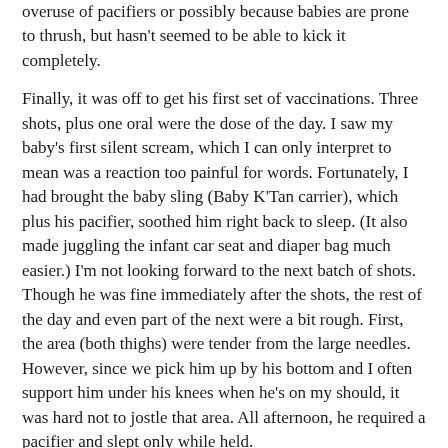overuse of pacifiers or possibly because babies are prone to thrush, but hasn't seemed to be able to kick it completely.
Finally, it was off to get his first set of vaccinations. Three shots, plus one oral were the dose of the day. I saw my baby's first silent scream, which I can only interpret to mean was a reaction too painful for words. Fortunately, I had brought the baby sling (Baby K'Tan carrier), which plus his pacifier, soothed him right back to sleep. (It also made juggling the infant car seat and diaper bag much easier.) I'm not looking forward to the next batch of shots. Though he was fine immediately after the shots, the rest of the day and even part of the next were a bit rough. First, the area (both thighs) were tender from the large needles. However, since we pick him up by his bottom and I often support him under his knees when he's on my should, it was hard not to jostle that area. All afternoon, he required a pacifier and slept only while held.
[Figure (photo): Close-up photo of a baby's leg or thigh area with red/pink fabric visible, likely showing vaccination site.]